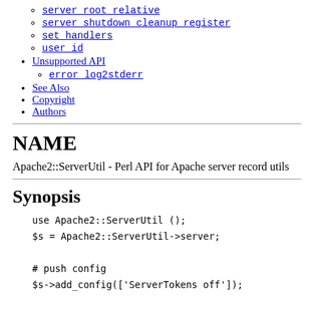server root relative
server shutdown cleanup register
set_handlers
user_id
Unsupported API
error_log2stderr
See Also
Copyright
Authors
NAME
Apache2::ServerUtil - Perl API for Apache server record utils
Synopsis
use Apache2::ServerUtil ();
$s = Apache2::ServerUtil->server;

# push config
$s->add_config(['ServerTokens off']);